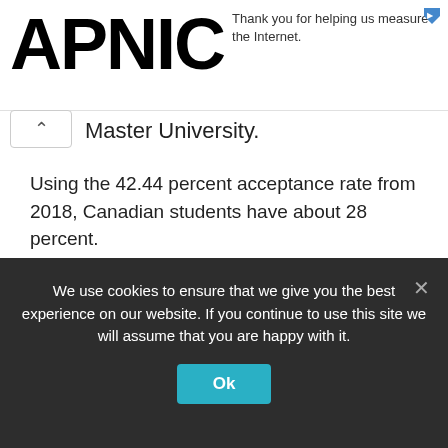[Figure (logo): APNIC logo in large bold black text]
Thank you for helping us measure the Internet.
Master University.
Using the 42.44 percent acceptance rate from 2018, Canadian students have about 28 percent.
Read also: Cheapest Universities in Ukraine for International Students
Is there an Admission rate for
We use cookies to ensure that we give you the best experience on our website. If you continue to use this site we will assume that you are happy with it.